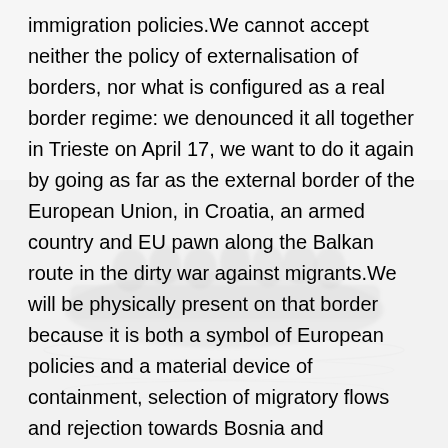[Figure (photo): Faded background photograph of people on a boat at sea, visible through the white text overlay.]
immigration policies.We cannot accept neither the policy of externalisation of borders, nor what is configured as a real border regime: we denounced it all together in Trieste on April 17, we want to do it again by going as far as the external border of the European Union, in Croatia, an armed country and EU pawn along the Balkan route in the dirty war against migrants.We will be physically present on that border because it is both a symbol of European policies and a material device of containment, selection of migratory flows and rejection towards Bosnia and Herzegovina. For us, being in Maljevac means being in Ceuta and Melilla, in the Canary Islands, in Lampedusa, in Lesvos and in Evros.Europe and its Member States continue to get blood on its hands, defending imaginary lines against the arrival of people, preventing their movement and denying them access to